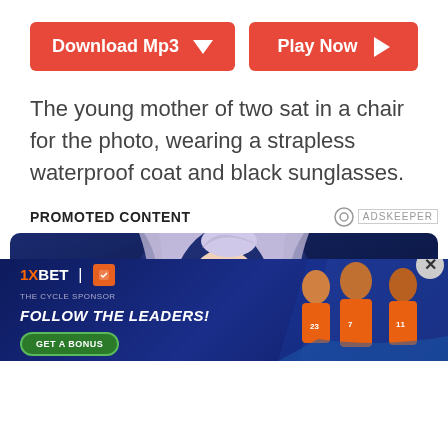[Figure (screenshot): Two red buttons side by side: 'Download Mp3' with a down arrow icon, and 'Play Now' with a right arrow icon]
The young mother of two sat in a chair for the photo, wearing a strapless waterproof coat and black sunglasses.
PROMOTED CONTENT
[Figure (photo): Celebrity woman with long blonde/silver hair against a dark blue background — promotional ad content]
[Figure (screenshot): 1XBET sports betting banner ad with 'FOLLOW THE LEADERS!' headline and 'GET A BONUS' button, featuring three athletes in orange uniforms]